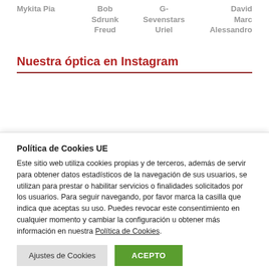Mykita Pia   Bob Sdrunk Freud   G-Sevenstars Uriel   David Marc Alessandro
Nuestra óptica en Instagram
Política de Cookies UE
Este sitio web utiliza cookies propias y de terceros, además de servir para obtener datos estadísticos de la navegación de sus usuarios, se utilizan para prestar o habilitar servicios o finalidades solicitados por los usuarios. Para seguir navegando, por favor marca la casilla que indica que aceptas su uso. Puedes revocar este consentimiento en cualquier momento y cambiar la configuración u obtener más información en nuestra Política de Cookies.
Ajustes de Cookies   ACEPTO